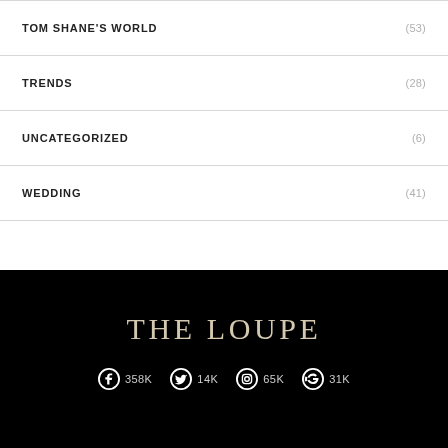TOM SHANE'S WORLD (53)
TRENDS (28)
UNCATEGORIZED (6)
WEDDING (41)
THE LOUPE
358K  14K  65K  31K